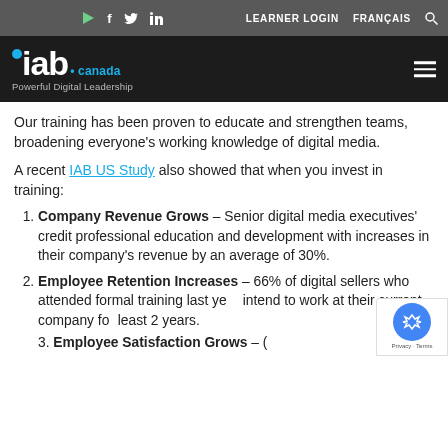IAB Canada – Learner Login | Français
[Figure (logo): IAB Canada logo with tagline 'Powerful Digital Leadership' on dark background]
Our training has been proven to educate and strengthen teams, broadening everyone's working knowledge of digital media.
A recent IAB US Study also showed that when you invest in training:
Company Revenue Grows – Senior digital media executives' credit professional education and development with increases in their company's revenue by an average of 30%.
Employee Retention Increases – 66% of digital sellers who attended formal training last year intend to work at their current company for at least 2 years.
Employee Satisfaction Grows – (partially visible)